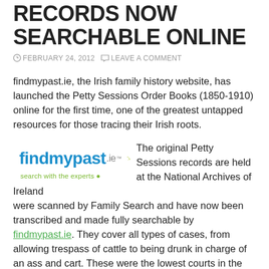RECORDS NOW SEARCHABLE ONLINE
FEBRUARY 24, 2012   LEAVE A COMMENT
findmypast.ie, the Irish family history website, has launched the Petty Sessions Order Books (1850-1910) online for the first time, one of the greatest untapped resources for those tracing their Irish roots.
[Figure (logo): findmypast.ie logo with tagline 'search with the experts' and decorative dots]
The original Petty Sessions records are held at the National Archives of Ireland were scanned by Family Search and have now been transcribed and made fully searchable by findmypast.ie. They cover all types of cases, from allowing trespass of cattle to being drunk in charge of an ass and cart. These were the lowest courts in the country who dealt with the vast bulk of legal